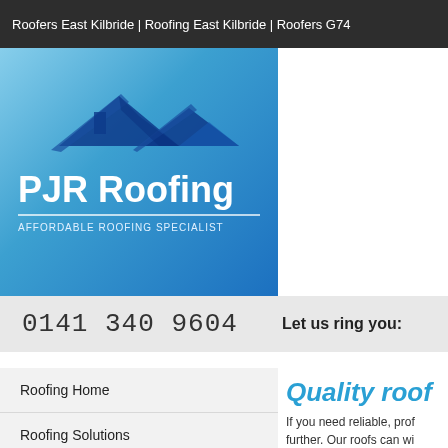Roofers East Kilbride | Roofing East Kilbride | Roofers G74
[Figure (logo): PJR Roofing logo on blue gradient background with roof silhouette icon, company name 'PJR Roofing' and tagline 'AFFORDABLE ROOFING SPECIALIST']
0141 340 9604
Let us ring you:
Roofing Home
Roofing Solutions
Email The Team
Quality roof
If you need reliable, prof further. Our roofs can wi